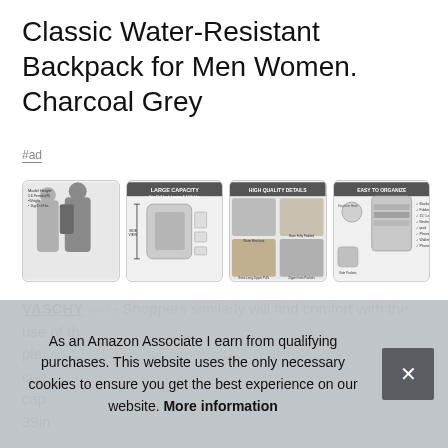Classic Water-Resistant Backpack for Men Women. Charcoal Grey
#ad
[Figure (photo): Four product images of a charcoal grey backpack showing model wearing it, large capacity diagram, high quality details close-ups, and easy to organize compartment view]
VASCHY #ad - Shoppers similarly will find comfort with the use of th[e]... ple[nty]... cap[acity]... cap[acity]... 39in[ch]...
As an Amazon Associate I earn from qualifying purchases. This website uses the only necessary cookies to ensure you get the best experience on our website. More information